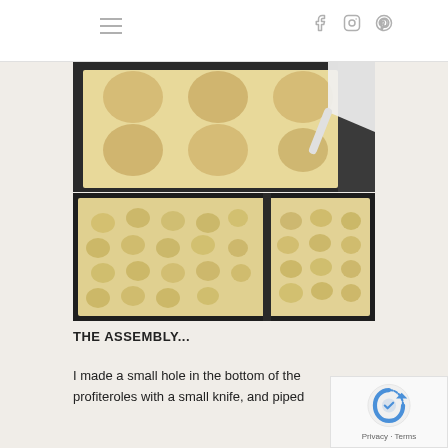Navigation and social icons header
[Figure (photo): Baking tray with large round dough circles being piped from a white piping bag on parchment paper]
[Figure (photo): Two baking trays side by side with many small piped profiterole mounds on parchment paper before baking]
THE ASSEMBLY...
I made a small hole in the bottom of the profiteroles with a small knife, and piped